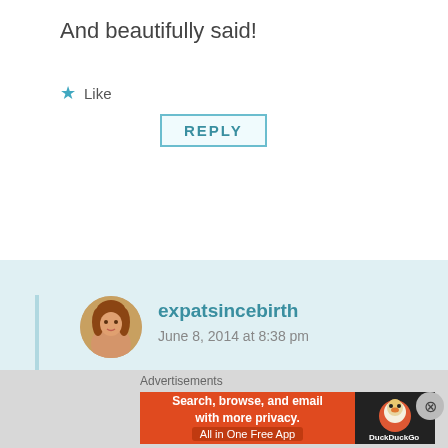And beautifully said!
Like
REPLY
expatsincebirth
June 8, 2014 at 8:38 pm
Thank you, Maria, I think it’s a bit different than the film and article we both commented on facebook yesterday and today. Acquiring a language, i.e. in the most natural way, is still possible later on in life.
Advertisements
[Figure (illustration): DuckDuckGo advertisement banner: orange background with text 'Search, browse, and email with more privacy. All in One Free App' and DuckDuckGo logo on dark background]